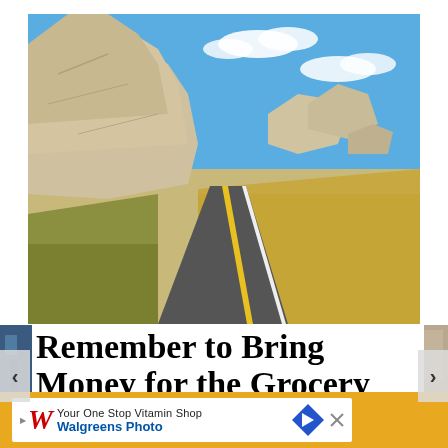[Figure (photo): A winding two-lane road through the badlands, with dramatic tan/white eroded rock formations on the left, golden grass on the right, and a blue sky with white clouds above.]
Remember to Bring Money for the Grocery Tax
[Figure (photo): Walgreens advertisement banner: 'Your One Stop Vitamin Shop' with Walgreens Photo logo on white background with gold/orange border, navigation arrow icon.]